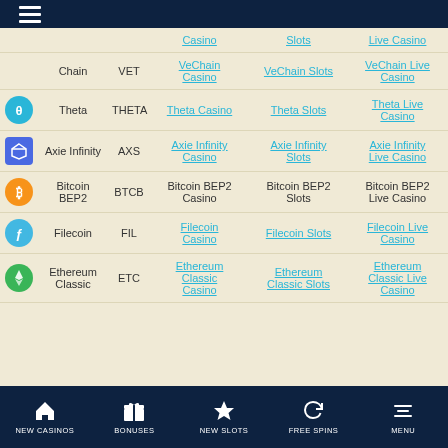Navigation header with hamburger menu
| Icon | Name | Symbol | Casino | Slots | Live Casino | Blackjack |
| --- | --- | --- | --- | --- | --- | --- |
|  |  |  | Casino | Slots | Live Casino | Blackjack |
|  | Chain | VET | VeChain Casino | VeChain Slots | VeChain Live Casino | VeChain Blackjack |
| Theta icon | Theta | THETA | Theta Casino | Theta Slots | Theta Live Casino | Theta Blackjack |
| Axie icon | Axie Infinity | AXS | Axie Infinity Casino | Axie Infinity Slots | Axie Infinity Live Casino | Axie Infinity Blackjack |
| Bitcoin BEP2 icon | Bitcoin BEP2 | BTCB | Bitcoin BEP2 Casino | Bitcoin BEP2 Slots | Bitcoin BEP2 Live Casino | Bitcoin BEP2 Blackjack |
| Filecoin icon | Filecoin | FIL | Filecoin Casino | Filecoin Slots | Filecoin Live Casino | Filecoin Blackjack |
| Ethereum Classic icon | Ethereum Classic | ETC | Ethereum Classic Casino | Ethereum Classic Slots | Ethereum Classic Live Casino | Ethereum Classic Blackjack |
NEW CASINOS | BONUSES | NEW SLOTS | FREE SPINS | MENU